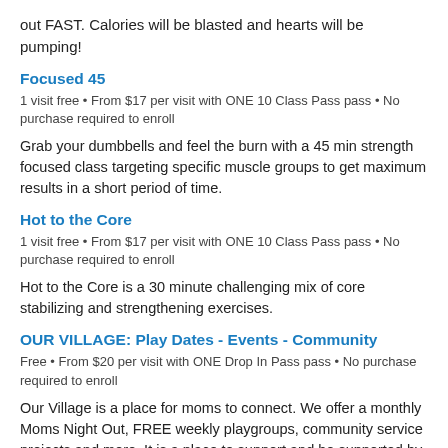out FAST. Calories will be blasted and hearts will be pumping!
Focused 45
1 visit free • From $17 per visit with ONE 10 Class Pass pass • No purchase required to enroll
Grab your dumbbells and feel the burn with a 45 min strength focused class targeting specific muscle groups to get maximum results in a short period of time.
Hot to the Core
1 visit free • From $17 per visit with ONE 10 Class Pass pass • No purchase required to enroll
Hot to the Core is a 30 minute challenging mix of core stabilizing and strengthening exercises.
OUR VILLAGE: Play Dates - Events - Community
Free • From $20 per visit with ONE Drop In Pass pass • No purchase required to enroll
Our Village is a place for moms to connect. We offer a monthly Moms Night Out, FREE weekly playgroups, community service projects and more. It is a place to support and be supported by other moms!
Check out our private Facebook group to view all upcoming events!